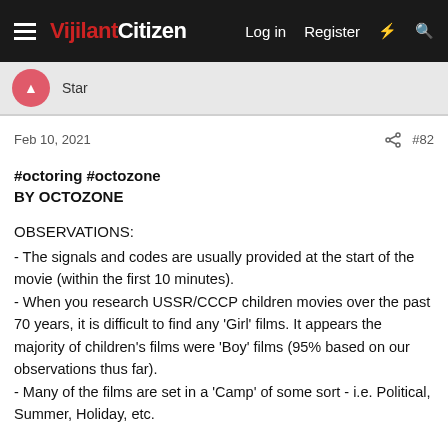VijilantCitizen | Log in | Register
Star
Feb 10, 2021  #82
#octoring #octozone
BY OCTOZONE
OBSERVATIONS:
- The signals and codes are usually provided at the start of the movie (within the first 10 minutes).
- When you research USSR/CCCP children movies over the past 70 years, it is difficult to find any 'Girl' films. It appears the majority of children's films were 'Boy' films (95% based on our observations thus far).
- Many of the films are set in a 'Camp' of some sort - i.e. Political, Summer, Holiday, etc.